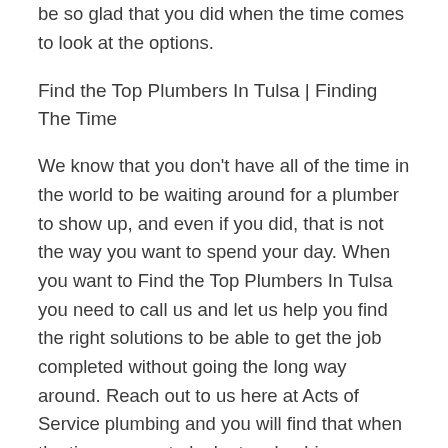be so glad that you did when the time comes to look at the options.
Find the Top Plumbers In Tulsa | Finding The Time
We know that you don't have all of the time in the world to be waiting around for a plumber to show up, and even if you did, that is not the way you want to spend your day. When you want to Find the Top Plumbers In Tulsa you need to call us and let us help you find the right solutions to be able to get the job completed without going the long way around. Reach out to us here at Acts of Service plumbing and you will find that when the time comes to look at a plumbing company you will be happy you did.